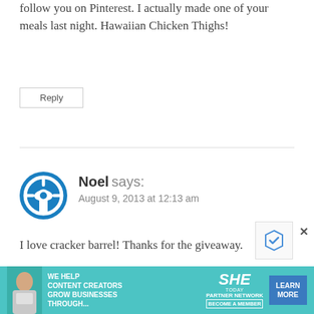follow you on Pinterest. I actually made one of your meals last night. Hawaiian Chicken Thighs!
Reply
Noel says: August 9, 2013 at 12:13 am
I love cracker barrel! Thanks for the giveaway.
Reply
[Figure (infographic): SHE Media advertisement banner: 'We help content creators grow businesses through...' with SHE Partner Network logo and Learn More button]